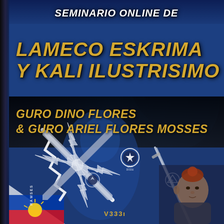Seminario Online de
LAMECO ESKRIMA Y KALI ILUSTRISIMO
GURO DINO FLORES & GURO ARIEL FLORES MOSSES
[Figure (illustration): Promotional poster for an online seminar on Lameco Eskrima and Kali Ilustrisimo martial arts. Features two instructors (Guro Dino Flores and Guro Ariel Flores Mosses), crossed bladed weapons logos, martial arts organization emblems, and Philippine flag imagery on a blue background.]